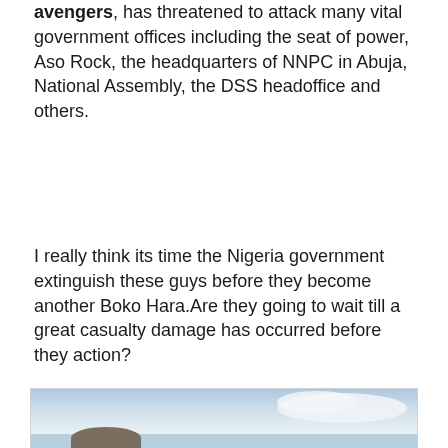avengers, has threatened to attack many vital government offices including the seat of power, Aso Rock, the headquarters of NNPC in Abuja, National Assembly, the DSS headoffice and others.
I really think its time the Nigeria government extinguish these guys before they become another Boko Hara.Are they going to wait till a great casualty damage has occurred before they action?
[Figure (photo): A photograph showing a rocky formation or hill against a cloudy sky background, taken outdoors.]